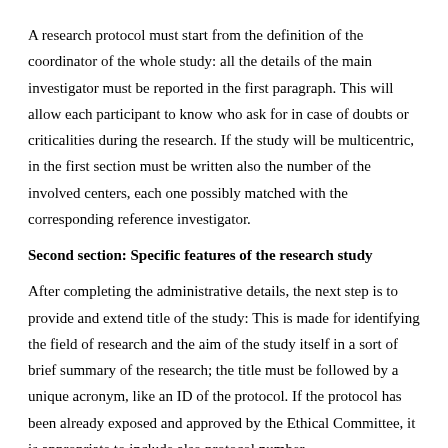A research protocol must start from the definition of the coordinator of the whole study: all the details of the main investigator must be reported in the first paragraph. This will allow each participant to know who ask for in case of doubts or criticalities during the research. If the study will be multicentric, in the first section must be written also the number of the involved centers, each one possibly matched with the corresponding reference investigator.
Second section: Specific features of the research study
After completing the administrative details, the next step is to provide and extend title of the study: This is made for identifying the field of research and the aim of the study itself in a sort of brief summary of the research; the title must be followed by a unique acronym, like an ID of the protocol. If the protocol has been already exposed and approved by the Ethical Committee, it is appropriate to include also protocol number.
A list of 3–7 keywords must be listed to simplify the collocation of the protocol in its field of research, including, for example, disease, research tools, and analyzed parameters (e.g. three-dimensional echocardiography, right ventricle, end-stage heart failure, and so on).